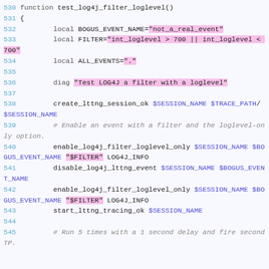530 function test_log4j_filter_loglevel()
531 {
532         local BOGUS_EVENT_NAME="not_a_real_event"
533         local FILTER="int_loglevel > 700 || int_loglevel < 700"
534         local ALL_EVENTS="."
535 
536         diag "Test LOG4J a filter with a loglevel"
537 
538         create_lttng_session_ok $SESSION_NAME $TRACE_PATH/$SESSION_NAME
539         # Enable an event with a filter and the loglevel-only option.
540         enable_log4j_filter_loglevel_only $SESSION_NAME $BOGUS_EVENT_NAME "$FILTER" LOG4J_INFO
541         disable_log4j_lttng_event $SESSION_NAME $BOGUS_EVENT_NAME
542         enable_log4j_filter_loglevel_only $SESSION_NAME $BOGUS_EVENT_NAME "$FILTER" LOG4J_INFO
543         start_lttng_tracing_ok $SESSION_NAME
544 
545         # Run 5 times with a 1 second delay and fire second TP.